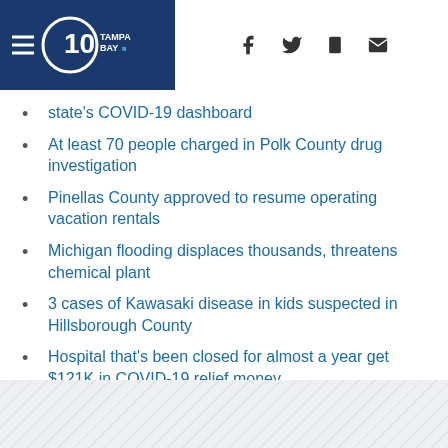10 Tampa Bay
state's COVID-19 dashboard
At least 70 people charged in Polk County drug investigation
Pinellas County approved to resume operating vacation rentals
Michigan flooding displaces thousands, threatens chemical plant
3 cases of Kawasaki disease in kids suspected in Hillsborough County
Hospital that's been closed for almost a year get $121K in COVID-19 relief money